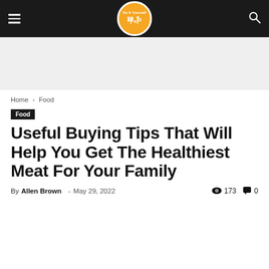Do It Yourself Hub — navigation bar with logo
[Figure (logo): Orange circle logo with fork and knife icon and text 'Do It Yourself Hub']
Home › Food
Food
Useful Buying Tips That Will Help You Get The Healthiest Meat For Your Family
By Allen Brown - May 29, 2022   173   0